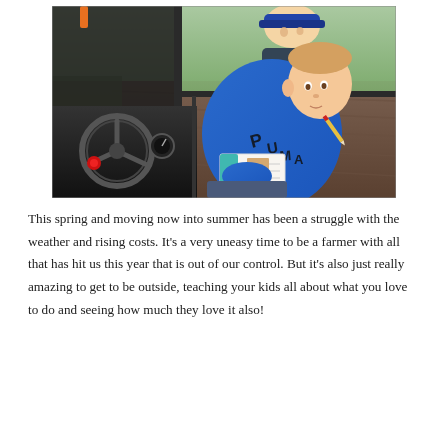[Figure (photo): A young boy in a blue hoodie sitting inside a tractor cab, holding a pencil and a small book/notepad. An older child wearing a baseball cap is visible behind him. Through the tractor windows, a plowed farm field is visible in the background.]
This spring and moving now into summer has been a struggle with the weather and rising costs. It's a very uneasy time to be a farmer with all that has hit us this year that is out of our control. But it's also just really amazing to get to be outside, teaching your kids all about what you love to do and seeing how much they love it also!